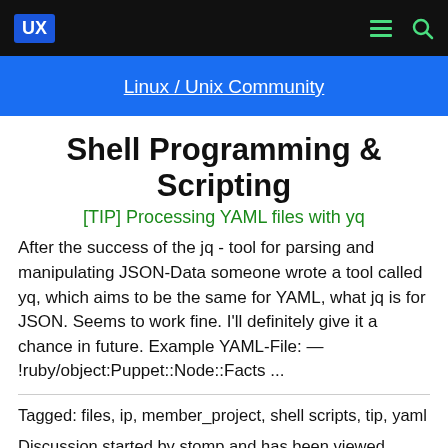UX [nav icons]
Linux / Unix Community
Shell Programming & Scripting
[TIP] Processing YAML files with yq
After the success of the jq - tool for parsing and manipulating JSON-Data someone wrote a tool called yq, which aims to be the same for YAML, what jq is for JSON. Seems to work fine. I'll definitely give it a chance in future. Example YAML-File: — !ruby/object:Puppet::Node::Facts ...
Tagged: files, ip, member_project, shell scripts, tip, yaml
Discussion started by stomp and has been viewed 41349 times.
There has been 1 reply and 6 user thanks in this